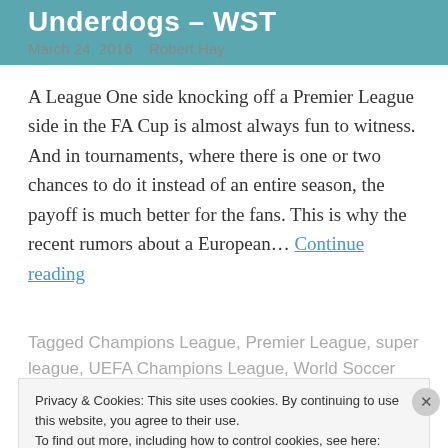Underdogs – WST
March 24, 2016   Robert Hay
A League One side knocking off a Premier League side in the FA Cup is almost always fun to witness. And in tournaments, where there is one or two chances to do it instead of an entire season, the payoff is much better for the fans. This is why the recent rumors about a European… Continue reading
Tagged Champions League, Premier League, super league, UEFA Champions League, World Soccer Talk,
Privacy & Cookies: This site uses cookies. By continuing to use this website, you agree to their use.
To find out more, including how to control cookies, see here: Cookie Policy
Close and accept